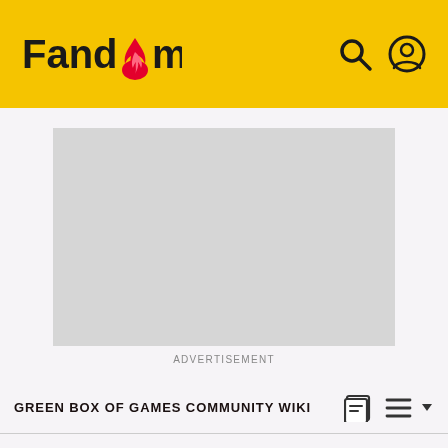Fandom
[Figure (other): Grey advertisement placeholder rectangle]
ADVERTISEMENT
GREEN BOX OF GAMES COMMUNITY WIKI
Leaning Tower
EDIT